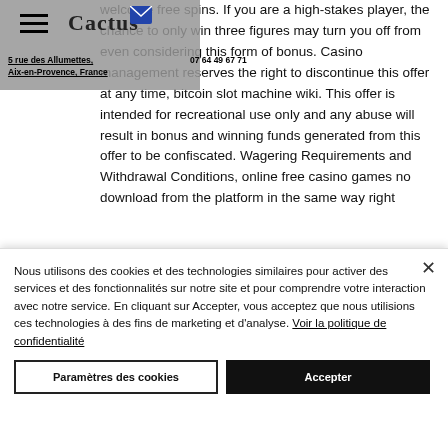Cactus Coworking | 5 rue des Allumettes, Aix-en-Provence, France | 07 64 49 67 71
welcome free spins. If you are a high-stakes player, the chance to only win three figures may turn you off from even considering this form of bonus. Casino management reserves the right to discontinue this offer at any time, bitcoin slot machine wiki. This offer is intended for recreational use only and any abuse will result in bonus and winning funds generated from this offer to be confiscated. Wagering Requirements and Withdrawal Conditions, online free casino games no download from the platform in the same way right
Nous utilisons des cookies et des technologies similaires pour activer des services et des fonctionnalités sur notre site et pour comprendre votre interaction avec notre service. En cliquant sur Accepter, vous acceptez que nous utilisions ces technologies à des fins de marketing et d'analyse. Voir la politique de confidentialité
Paramètres des cookies
Accepter